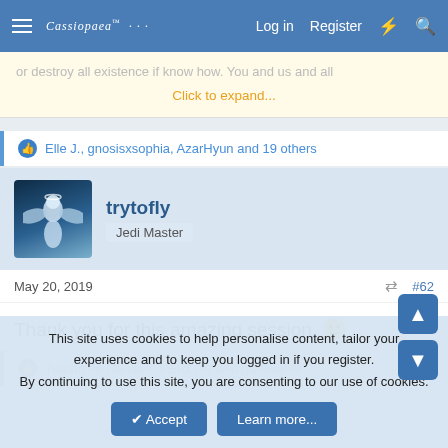Cassiopaea Log in Register
or destroy all existence if know how. You and us and all
Click to expand...
Elle J., gnosisxsophia, AzarHyun and 19 others
trytofly
Jedi Master
May 20, 2019
#62
Thank you for this amazing session. 🙂
Tuatha de Danaan, PERLOU and gavesahel
This site uses cookies to help personalise content, tailor your experience and to keep you logged in if you register. By continuing to use this site, you are consenting to our use of cookies.
Accept
Learn more...